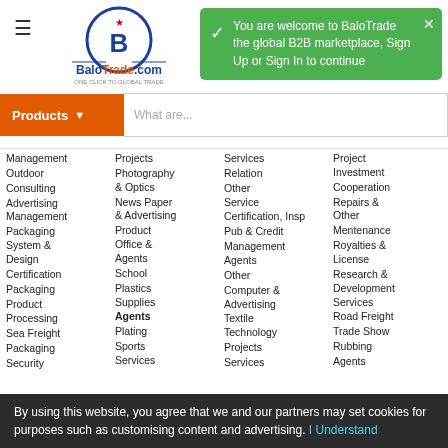BaloTrade.com - ONE CLICK TO GLOBAL TRADE
[Figure (logo): BaloTrade.com logo with blue circle, crown/crest emblem, decorative swashes, and tagline ONE CLICK TO GLOBAL TRADE]
You are welcome to BaloTrade the global B2B marketplace, Sign Up or Sign In to continue
Products
What are...
Management
Outdoor
Consulting
Advertising Management
Packaging System & Design
Certification
Packaging
Product
Processing
Sea Freight
Packaging
Security Products
Product Agents
Agents
Passport & Visa
Projects
Shoes
Agents
Projects
Photography & Optics
News Paper & Advertising
Product Office & Agents
School
Plastics Supplies
Agents
Plating
Sports Services
Product
Agenting
Product
Supply Chain
Agents
Management Technology
Consulting
Telecommunication
Services
Relation
Other Service
Certification, Inspection
Pub & Credit
Management Agents
Other
Computer & Advertising
Textile Technology
Projects
Services Freight
Tickets
Real Estate
Tool Agents
Agents
Project Investment
Cooperation
Repairs & Other
Mentenance
Royalties & License
Research & Development Services
Road Freight
Trade Show
Rubbing
Agents
Trademarks
Trading Companies
Transportation
Services
By using this website, you agree that we and our partners may set cookies for purposes such as customising content and advertising. I Understand